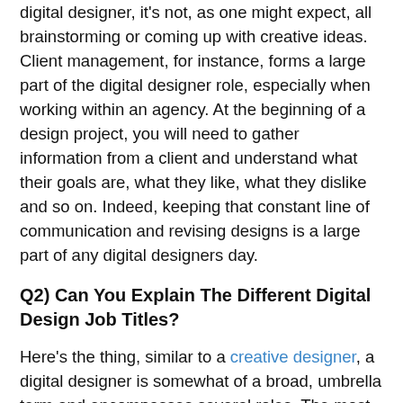digital designer, it's not, as one might expect, all brainstorming or coming up with creative ideas. Client management, for instance, forms a large part of the digital designer role, especially when working within an agency. At the beginning of a design project, you will need to gather information from a client and understand what their goals are, what they like, what they dislike and so on. Indeed, keeping that constant line of communication and revising designs is a large part of any digital designers day.
Q2) Can You Explain The Different Digital Design Job Titles?
Here's the thing, similar to a creative designer, a digital designer is somewhat of a broad, umbrella term and encompasses several roles. The most common job titles, which are ultimately all about taking ownership of the design that people see on an app or website, are web designer, UX designer and UI designer. Find out more about these roles by clicking the relevant links.